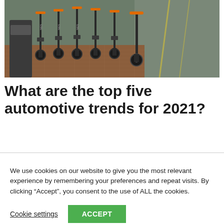[Figure (photo): Row of dark grey and orange electric scooters (Ninebot/Segway brand) parked on brick pavement, street visible in background]
What are the top five automotive trends for 2021?
We use cookies on our website to give you the most relevant experience by remembering your preferences and repeat visits. By clicking “Accept”, you consent to the use of ALL the cookies.
Cookie settings | ACCEPT